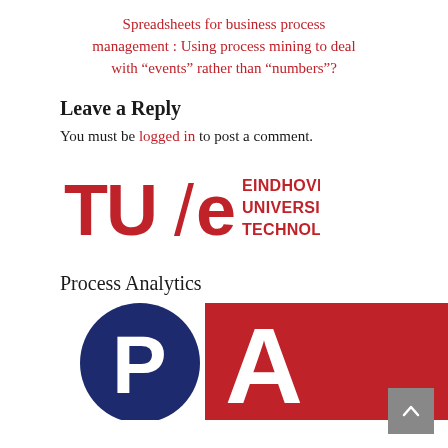Spreadsheets for business process management : Using process mining to deal with “events” rather than “numbers”?
Leave a Reply
You must be logged in to post a comment.
[Figure (logo): TU/e Eindhoven University of Technology logo in red]
Process Analytics
[Figure (logo): Process Analytics logo showing dark blue P and red A letters partially visible]